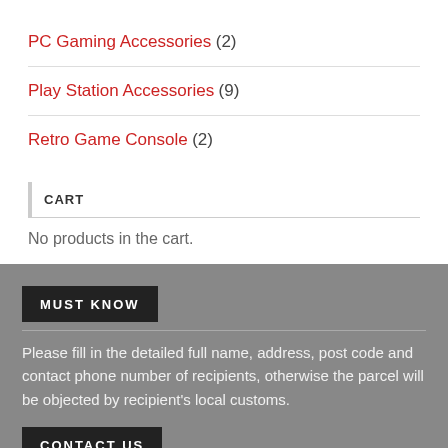PC Gaming Accessories (2)
Play Station Accessories (9)
Retro Game Console (2)
CART
No products in the cart.
MUST KNOW
Please fill in the detailed full name, address, post code and contact phone number of recipients, otherwise the parcel will be objected by recipient's local customs.
CONTACT US